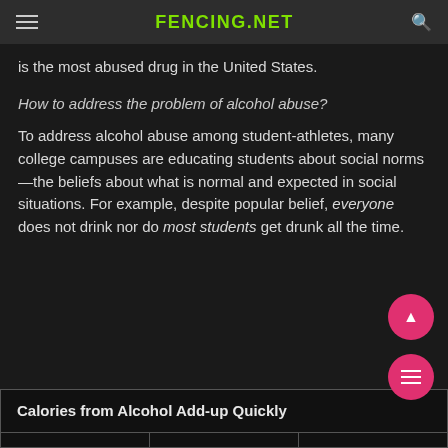FENCING.NET
is the most abused drug in the United States.
How to address the problem of alcohol abuse?
To address alcohol abuse among student-athletes, many college campuses are educating students about social norms—the beliefs about what is normal and expected in social situations. For example, despite popular belief, everyone does not drink nor do most students get drunk all the time.
| Calories from Alcohol Add-up Quickly |
| --- |
|  |